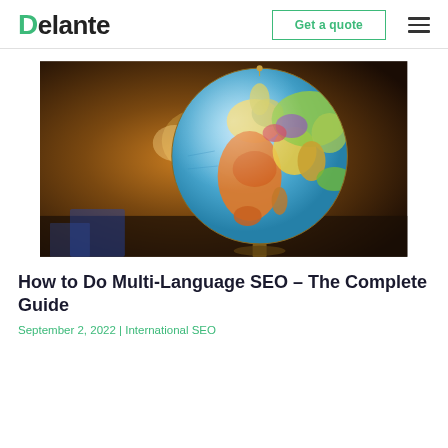Delante | Get a quote
[Figure (photo): A colorful globe/world map on a stand in a dimly lit room with blurred background showing books and warm lighting]
How to Do Multi-Language SEO – The Complete Guide
September 2, 2022 | International SEO